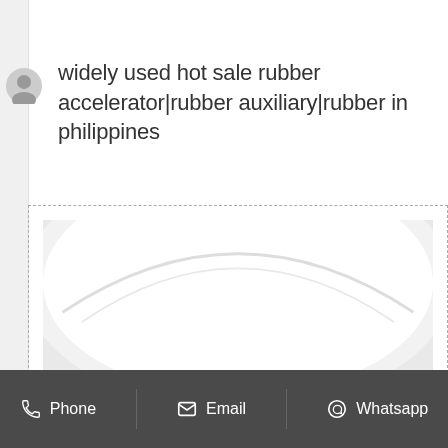widely used hot sale rubber accelerator|rubber auxiliary|rubber in philippines
[Figure (photo): Close-up photograph of a pile of light gray/beige powder (rubber accelerator chemical) in a white round container/bowl, viewed from above at an angle showing the mound of fine powder against the white background.]
Phone   Email   Whatsapp